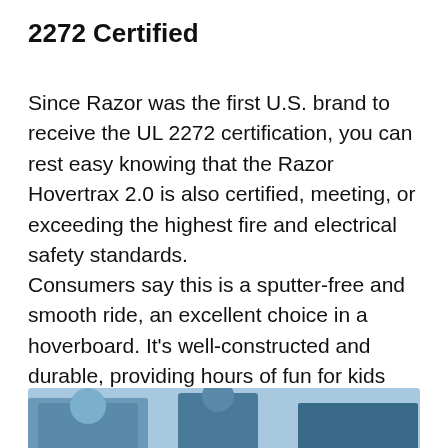2272 Certified
Since Razor was the first U.S. brand to receive the UL 2272 certification, you can rest easy knowing that the Razor Hovertrax 2.0 is also certified, meeting, or exceeding the highest fire and electrical safety standards.
Consumers say this is a sputter-free and smooth ride, an excellent choice in a hoverboard. It’s well-constructed and durable, providing hours of fun for kids everywhere.
[Figure (photo): Photo showing people riding hoverboards outdoors, partially visible at the bottom of the page.]